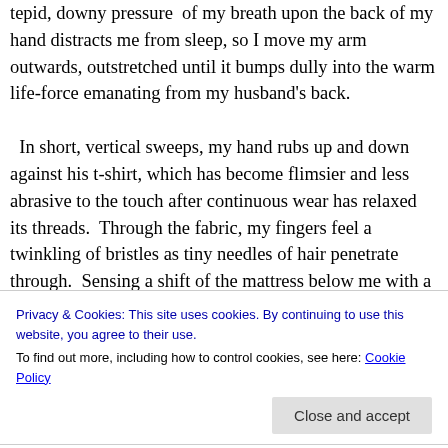tepid, downy pressure of my breath upon the back of my hand distracts me from sleep, so I move my arm outwards, outstretched until it bumps dully into the warm life-force emanating from my husband's back.  In short, vertical sweeps, my hand rubs up and down against his t-shirt, which has become flimsier and less abrasive to the touch after continuous wear has relaxed its threads.  Through the fabric, my fingers feel a twinkling of bristles as tiny needles of hair penetrate through.  Sensing a shift of the mattress below me with a tug of the sheet above me, I realize
Privacy & Cookies: This site uses cookies. By continuing to use this website, you agree to their use.
To find out more, including how to control cookies, see here: Cookie Policy
Close and accept
less concentration of the regulation of my breathing